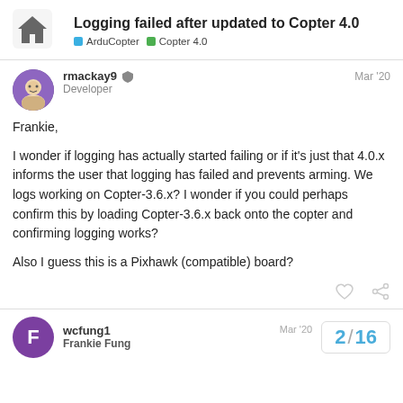Logging failed after updated to Copter 4.0 | ArduCopter | Copter 4.0
rmackay9 Developer Mar '20
Frankie,

I wonder if logging has actually started failing or if it's just that 4.0.x informs the user that logging has failed and prevents arming. We logs working on Copter-3.6.x? I wonder if you could perhaps confirm this by loading Copter-3.6.x back onto the copter and confirming logging works?

Also I guess this is a Pixhawk (compatible) board?
wcfung1
Frankie Fung
Mar '20
2 / 16